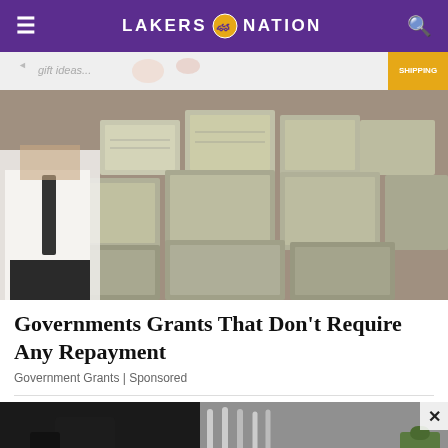LAKERS NATION
[Figure (photo): Photo of a man in a white shirt and tie standing next to large stacks of bundled US dollar bills]
Governments Grants That Don't Require Any Repayment
Government Grants | Sponsored
[Figure (photo): Partial photo of exercise equipment / gym machines in a dark setting]
[Figure (photo): Bottom advertisement banner: The perfect gift | 35% OFF + FREE SHIPPING]